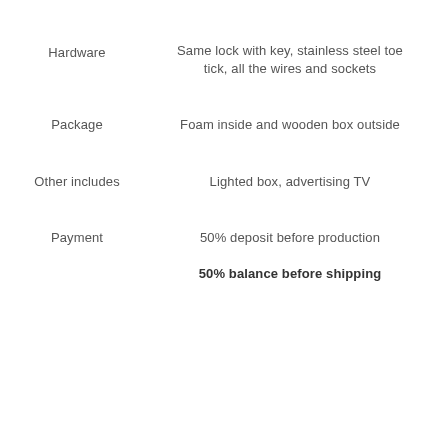|  |  |
| --- | --- |
| Hardware | Same lock with key, stainless steel toe tick, all the wires and sockets |
| Package | Foam inside and wooden box outside |
| Other includes | Lighted box, advertising TV |
| Payment | 50% deposit before production
50% balance before shipping |